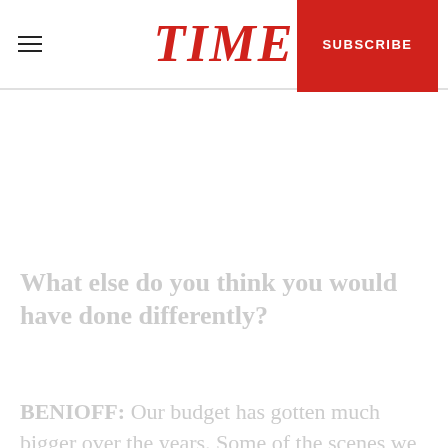TIME | SUBSCRIBE
What else do you think you would have done differently?
BENIOFF: Our budget has gotten much bigger over the years. Some of the scenes we shot in season one, we didn't have the time to shoot them